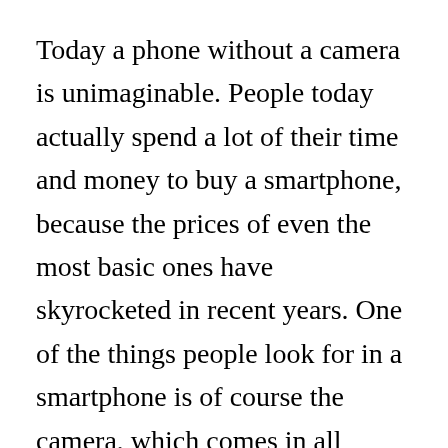Today a phone without a camera is unimaginable. People today actually spend a lot of their time and money to buy a smartphone, because the prices of even the most basic ones have skyrocketed in recent years. One of the things people look for in a smartphone is of course the camera, which comes in all shapes, sizes and numbers.
The smartphone camera has become an integral tool in our day-to-day existence. We not only use them to take pictures or record videos, but we also use them for many diverse reasons. For instance the camera can be used to scan a QR code, or even scan a page in